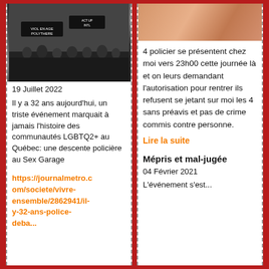[Figure (photo): Black and white photo of a protest march with banners including 'ACT UP' and 'VIOL EN AGE POLYTHERE']
19 Juillet 2022
Il y a 32 ans aujourd'hui, un triste événement marquait à jamais l'histoire des communautés LGBTQ2+ au Québec: une descente policière au Sex Garage
https://journalmetro.com/societe/vivre-ensemble/2862941/il-y-32-ans-police-deba...
[Figure (photo): Close-up photo of skin, pinkish-orange tones]
4 policier se présentent chez moi vers 23h00 cette journée là et on leurs demandant l'autorisation pour rentrer ils refusent se jetant sur moi les 4 sans préavis et pas de crime commis contre personne.
Lire la suite
Mépris et mal-jugée
04 Février 2021
L'événement s'est...